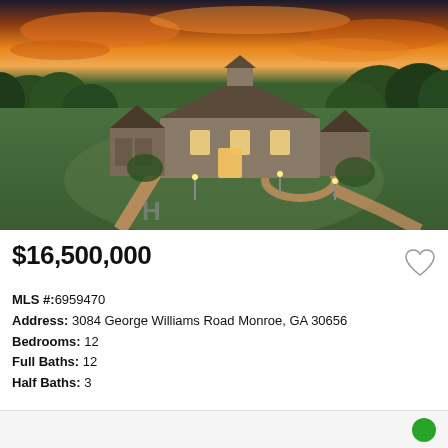[Figure (photo): Aerial drone photo of a large luxury estate home with stone exterior, multiple gables, circular driveway, and helipad marking on the lawn, surrounded by trees at sunset]
$16,500,000
MLS #:6959470
Address: 3084 George Williams Road Monroe, GA 30656
Bedrooms: 12
Full Baths: 12
Half Baths: 3
Listing Courtesy of Berkshire Hathaway HomeServices Georgia Properties
[Figure (logo): Berkshire Hathaway HomeServices Georgia Properties logo]